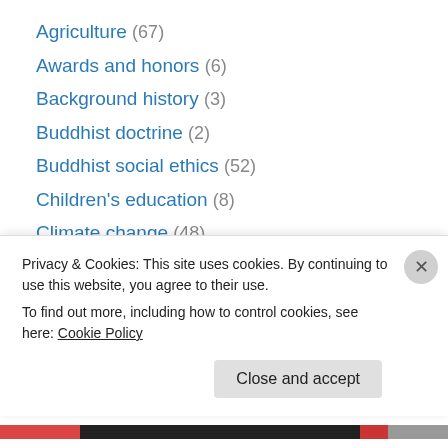Agriculture (67)
Awards and honors (6)
Background history (3)
Buddhist doctrine (2)
Buddhist social ethics (52)
Children's education (8)
Climate change (48)
Concert to feed the hungry (4)
Covid-19 (5)
Education (58)
Emergency relief (19)
Ending global poverty (47)
Engaged Buddhism (155)
Privacy & Cookies: This site uses cookies. By continuing to use this website, you agree to their use. To find out more, including how to control cookies, see here: Cookie Policy
Close and accept